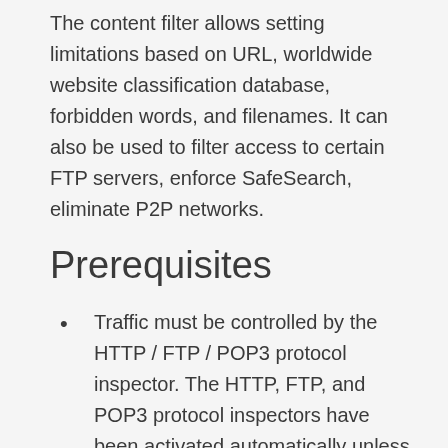The content filter allows setting limitations based on URL, worldwide website classification database, forbidden words, and filenames. It can also be used to filter access to certain FTP servers, enforce SafeSearch, eliminate P2P networks.
Prerequisites
Traffic must be controlled by the HTTP / FTP / POP3 protocol inspector. The HTTP, FTP, and POP3 protocol inspectors have been activated automatically unless their use is denied by